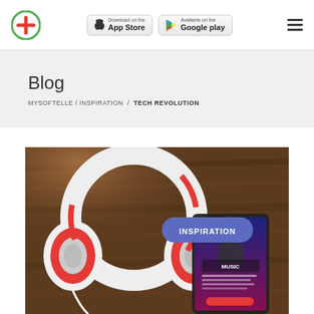[Figure (logo): Red cross plus sign logo in green circle]
[Figure (screenshot): Download on the App Store button]
[Figure (screenshot): Get it on Google Play button]
Blog
MYSOFTELLE / INSPIRATION / TECH REVOLUTION
[Figure (photo): Red and white headphones on a wooden surface next to a smartphone displaying Apple Music app, with an INSPIRATION badge overlay]